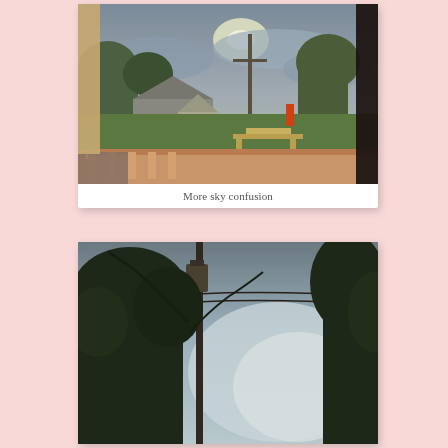[Figure (photo): Outdoor backyard scene viewed from an elevated deck. Overcast sky with bright sun partially visible through clouds. Wooden buildings/barn in background, green grass yard with picnic tables, wooden deck railing in foreground, utility pole visible, dark frame edge on right side. Small watermark text visible at lower left.]
More sky confusion
[Figure (photo): Outdoor scene looking upward toward overcast sky. Utility pole with transformer and wires in center-left, dark silhouetted trees on both sides, bright cloudy sky visible in center and right. Low angle, dramatic tree canopy framing.]